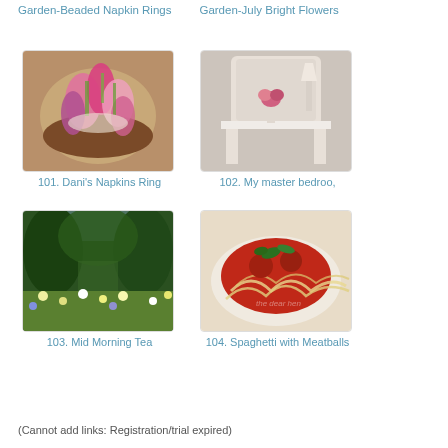Garden-Beaded Napkin Rings    Garden-July Bright Flowers
[Figure (photo): Colorful floral napkin arrangement on a round plate]
101. Dani's Napkins Ring
[Figure (photo): White ornate side table with pink flowers in vase and lamp in bedroom]
102. My master bedroo,
[Figure (photo): Lush green garden with archway and wildflowers]
103. Mid Morning Tea
[Figure (photo): Plate of spaghetti with meatballs and red sauce topped with basil]
104. Spaghetti with Meatballs
(Cannot add links: Registration/trial expired)